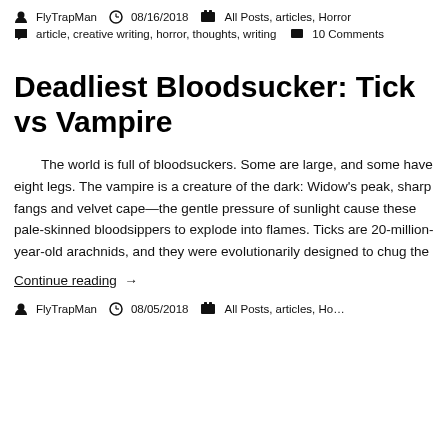FlyTrapMan  08/16/2018  All Posts, articles, Horror
article, creative writing, horror, thoughts, writing  10 Comments
Deadliest Bloodsucker: Tick vs Vampire
The world is full of bloodsuckers. Some are large, and some have eight legs. The vampire is a creature of the dark: Widow's peak, sharp fangs and velvet cape—the gentle pressure of sunlight cause these pale-skinned bloodsippers to explode into flames. Ticks are 20-million-year-old arachnids, and they were evolutionarily designed to chug the
Continue reading  →
FlyTrapMan  08/05/2018  All Posts, articles, Ho…